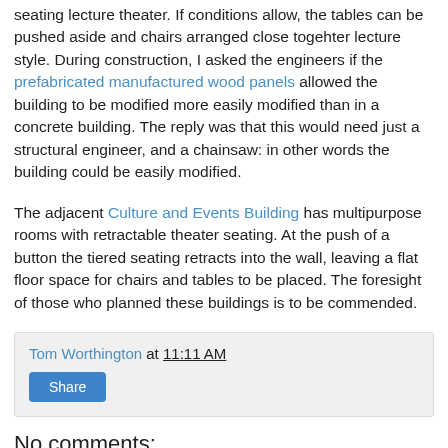seating lecture theater. If conditions allow, the tables can be pushed aside and chairs arranged close togehter lecture style. During construction, I asked the engineers if the prefabricated manufactured wood panels allowed the building to be modified more easily modified than in a concrete building. The reply was that this would need just a structural engineer, and a chainsaw: in other words the building could be easily modified.
The adjacent Culture and Events Building has multipurpose rooms with retractable theater seating. At the push of a button the tiered seating retracts into the wall, leaving a flat floor space for chairs and tables to be placed. The foresight of those who planned these buildings is to be commended.
Tom Worthington at 11:11 AM
Share
No comments: